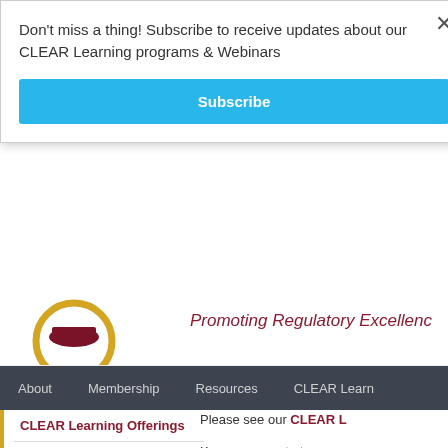Don't miss a thing! Subscribe to receive updates about our CLEAR Learning programs & Webinars
Subscribe
[Figure (logo): CLEAR circular logo with gold ring and maroon emblem, partially visible]
Promoting Regulatory Excellenc
About   Membership   Resources   CLEAR Learn
CLEAR Learning Offerings
CLEAR Event Calendar
CLEAR Webinar Calendar
CLEAR 2022 Virtual Symposium
Please see our CLEAR L
Keep your ear to t Subscribe bel